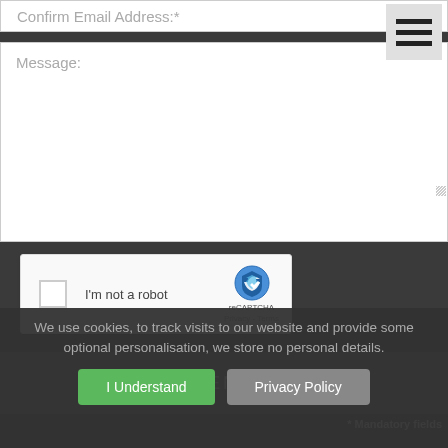Confirm Email Address:*
[Figure (screenshot): Hamburger menu icon with three horizontal bars]
Message:
[Figure (screenshot): reCAPTCHA widget with checkbox, 'I'm not a robot' text, and reCAPTCHA logo with Privacy and Terms links]
SEND
* Mandatory fields
We use cookies, to track visits to our website and provide some optional personalisation, we store no personal details.
I Understand
Privacy Policy